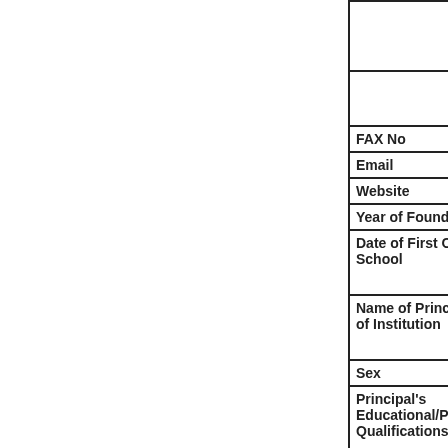|  |
|  |
| FAX No |
| Email |
| Website |
| Year of Founda... |
| Date of First Op...
School |
| Name of Princi...
of Institution |
| Sex |
| Principal's
Educational/Pr...
Qualifications: |
| No of Experien...
Years |